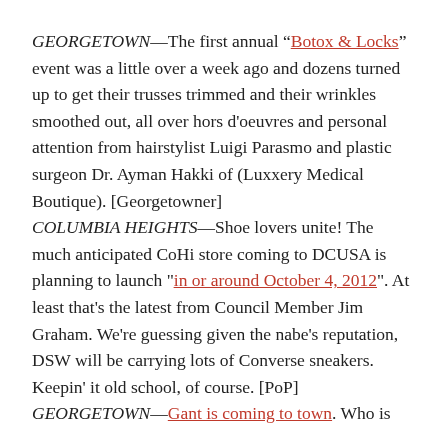GEORGETOWN—The first annual "Botox & Locks" event was a little over a week ago and dozens turned up to get their trusses trimmed and their wrinkles smoothed out, all over hors d'oeuvres and personal attention from hairstylist Luigi Parasmo and plastic surgeon Dr. Ayman Hakki of (Luxxery Medical Boutique). [Georgetowner]
COLUMBIA HEIGHTS—Shoe lovers unite! The much anticipated CoHi store coming to DCUSA is planning to launch "in or around October 4, 2012". At least that's the latest from Council Member Jim Graham. We're guessing given the nabe's reputation, DSW will be carrying lots of Converse sneakers. Keepin' it old school, of course. [PoP]
GEORGETOWN—Gant is coming to town. Who is